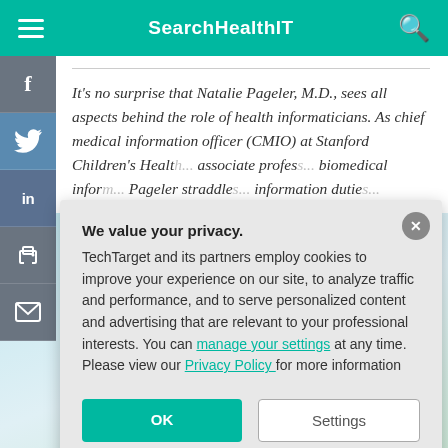SearchHealthIT
It's no surprise that Natalie Pageler, M.D., sees all aspects behind the role of health informaticians. As chief medical information officer (CMIO) at Stanford Children's Health... associate profes... biomedical infor... Pageler straddle... information dutie...
We value your privacy.
TechTarget and its partners employ cookies to improve your experience on our site, to analyze traffic and performance, and to serve personalized content and advertising that are relevant to your professional interests. You can manage your settings at any time. Please view our Privacy Policy for more information